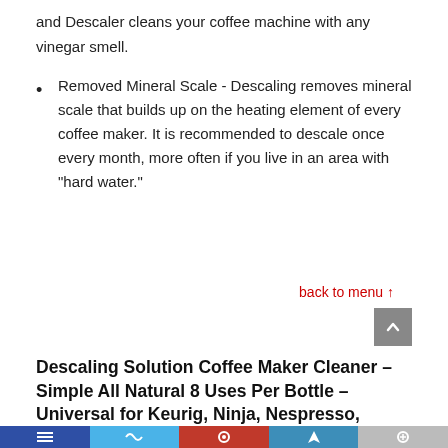and Descaler cleans your coffee machine with any vinegar smell.
Removed Mineral Scale - Descaling removes mineral scale that builds up on the heating element of every coffee maker. It is recommended to descale once every month, more often if you live in an area with "hard water."
back to menu ↑
Descaling Solution Coffee Maker Cleaner – Simple All Natural 8 Uses Per Bottle – Universal for Keurig, Ninja, Nespresso, Gagia, Mr Coffee, and Drip, Coffee and Espresso Machines